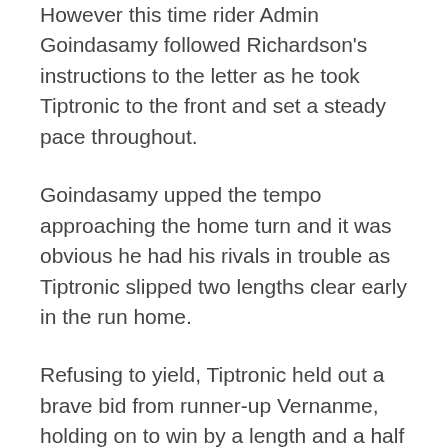However this time rider Admin Goindasamy followed Richardson's instructions to the letter as he took Tiptronic to the front and set a steady pace throughout.
Goindasamy upped the tempo approaching the home turn and it was obvious he had his rivals in trouble as Tiptronic slipped two lengths clear early in the run home.
Refusing to yield, Tiptronic held out a brave bid from runner-up Vernanme, holding on to win by a length and a half as race favourite Two Illicit produced a late run to take third.
Richardson was finding it hard to disguise that his victory had...